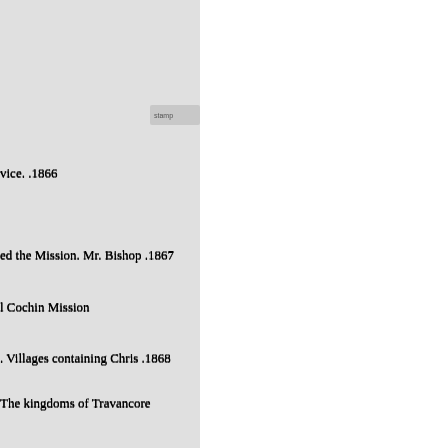vice. .1866
ed the Mission. Mr. Bishop .1867
l Cochin Mission
. Villages containing Chris .1868
The kingdoms of Travancore
d Wellesley to inquire into the
dition of the Syrian Church
. Dr. Buchanan, by sermons
ore
Colonel Munro, British .1870
invited the C.M.S. to .1871